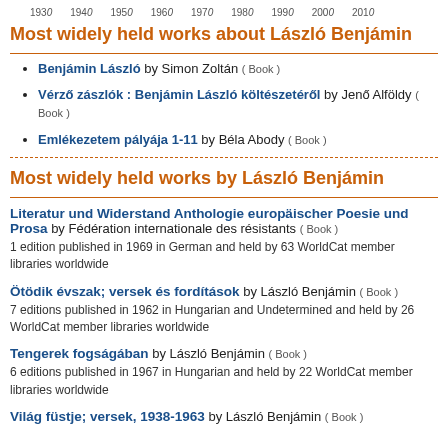1930 1940 1950 1960 1970 1980 1990 2000 2010
Most widely held works about László Benjámin
Benjámin László by Simon Zoltán ( Book )
Vérző zászlók : Benjámin László költészetéről by Jenő Alföldy ( Book )
Emlékezetem pályája 1-11 by Béla Abody ( Book )
Most widely held works by László Benjámin
Literatur und Widerstand Anthologie europäischer Poesie und Prosa by Fédération internationale des résistants ( Book )
1 edition published in 1969 in German and held by 63 WorldCat member libraries worldwide
Ötödik évszak; versek és fordítások by László Benjámin ( Book )
7 editions published in 1962 in Hungarian and Undetermined and held by 26 WorldCat member libraries worldwide
Tengerek fogságában by László Benjámin ( Book )
6 editions published in 1967 in Hungarian and held by 22 WorldCat member libraries worldwide
Világ füstje; versek, 1938-1963 by László Benjámin ( Book )